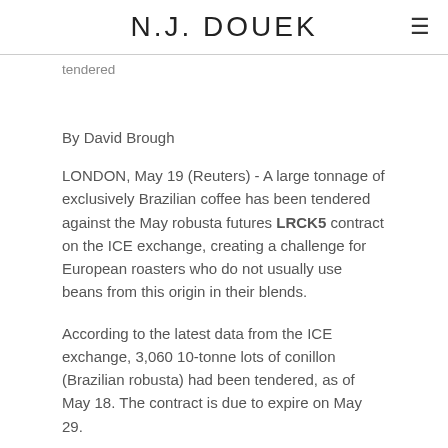N.J. DOUEK
tendered
By David Brough
LONDON, May 19 (Reuters) - A large tonnage of exclusively Brazilian coffee has been tendered against the May robusta futures LRCK5 contract on the ICE exchange, creating a challenge for European roasters who do not usually use beans from this origin in their blends.
According to the latest data from the ICE exchange, 3,060 10-tonne lots of conillon (Brazilian robusta) had been tendered, as of May 18. The contract is due to expire on May 29.